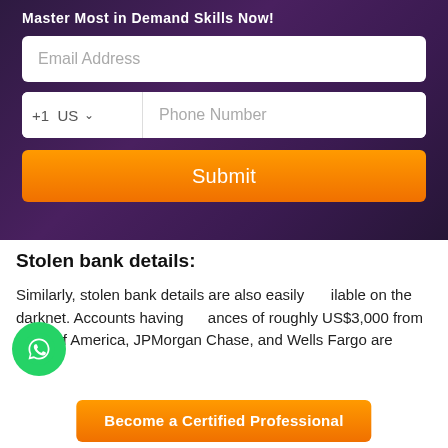[Figure (screenshot): Web form with email address input, phone number input with +1 US country code selector, and orange Submit button, on dark purple background]
Stolen bank details:
Similarly, stolen bank details are also easily available on the darknet. Accounts having balances of roughly US$3,000 from Bank of America, JPMorgan Chase, and Wells Fargo are
[Figure (logo): WhatsApp circular green logo button]
Become a Certified Professional